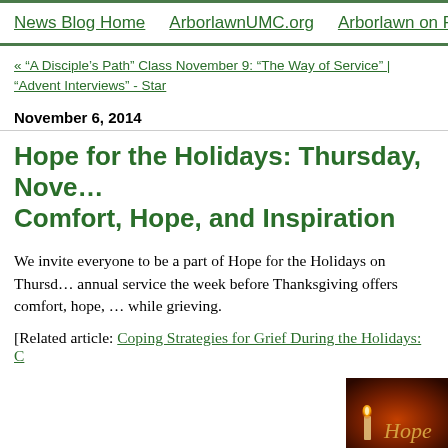News Blog Home   ArborlawnUMC.org   Arborlawn on Facebook
« “A Disciple’s Path” Class November 9: “The Way of Service” | “Advent Interviews” - Star
November 6, 2014
Hope for the Holidays: Thursday, November ... Comfort, Hope, and Inspiration
We invite everyone to be a part of Hope for the Holidays on Thursday... annual service the week before Thanksgiving offers comfort, hope, ... while grieving.
[Related article: Coping Strategies for Grief During the Holidays: C
[Figure (photo): Dark candlelit image with the word Hope in italic gold script, decorative holiday / grief service imagery]